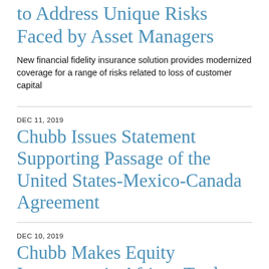to Address Unique Risks Faced by Asset Managers
New financial fidelity insurance solution provides modernized coverage for a range of risks related to loss of customer capital
DEC 11, 2019
Chubb Issues Statement Supporting Passage of the United States-Mexico-Canada Agreement
DEC 10, 2019
Chubb Makes Equity Investment in African Trade Insurance Agency
Chubb is first global property and casualty insurer to invest